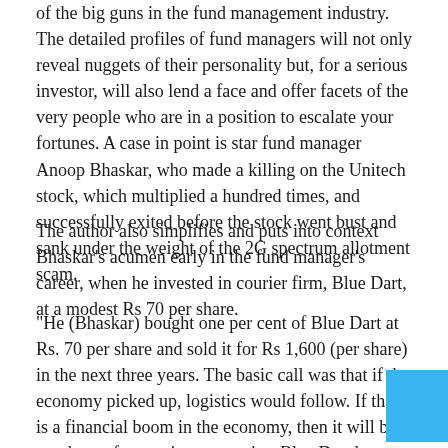of the big guns in the fund management industry. The detailed profiles of fund managers will not only reveal nuggets of their personality but, for a serious investor, will also lend a face and offer facets of the very people who are in a position to escalate your fortunes. A case in point is star fund manager Anoop Bhaskar, who made a killing on the Unitech stock, which multiplied a hundred times, and successfully exited before the stock went bust and sank under the weight of the 2G spectrum allotment scam.
The author also simplifies and puts into context Bhaskar's acumen early in the fund manager's career, when he invested in courier firm, Blue Dart, at a modest Rs 70 per share.
"He (Bhaskar) bought one per cent of Blue Dart at Rs. 70 per share and sold it for Rs 1,600 (per share) in the next three years. The basic call was that if the economy picked up, logistics would follow. If there is a financial boom in the economy, then it will be a good t... for courier companies. Blue Dart became the secured company for people who wanted to send confidential documents across India. Be it housing loans, credit cards or other bill payments, Blue Dart became the chosen courier for those who weighed security the highest," the author explains, in an attempt to simplify Bhaskar's